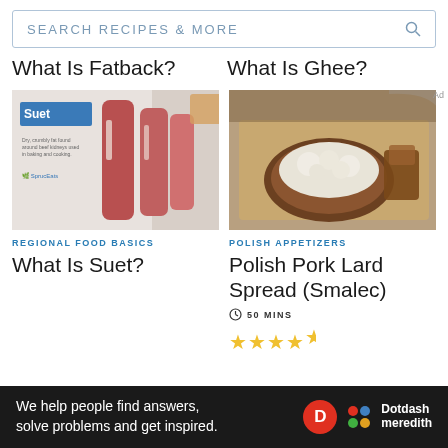SEARCH RECIPES & MORE
What Is Fatback?
What Is Ghee?
[Figure (photo): Photo of raw suet meat with text overlay reading 'Suet' on a blue label, showing raw beef fat strips on white paper, with The Spruce Eats logo]
[Figure (photo): Photo of Polish pork lard spread (smalec) on bread on a wooden cutting board]
REGIONAL FOOD BASICS
POLISH APPETIZERS
What Is Suet?
Polish Pork Lard Spread (Smalec)
50 MINS
★★★★½
We help people find answers, solve problems and get inspired. Dotdash meredith